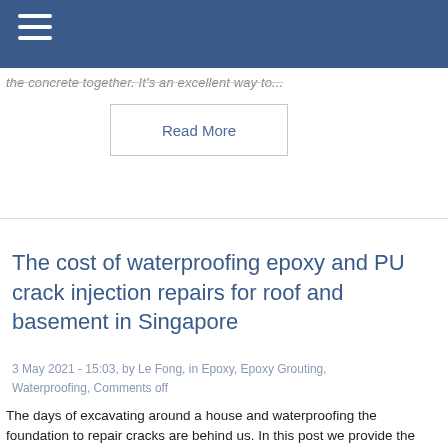the concrete together. It's an excellent way to...
Read More
The cost of waterproofing epoxy and PU crack injection repairs for roof and basement in Singapore
3 May 2021 - 15:03, by Le Fong, in Epoxy, Epoxy Grouting, Waterproofing, Comments off
The days of excavating around a house and waterproofing the foundation to repair cracks are behind us. In this post we provide the